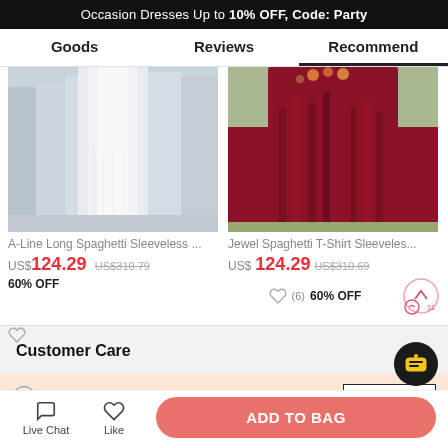Occasion Dresses Up to 10% OFF, Code: Party
Goods
Reviews
Recommend
[Figure (photo): White/light blue bridesmaids dresses - A-Line Long Spaghetti Sleeveless product photo]
A-Line Long Spaghetti Sleeveless ...
US$124.29  US$310.79
60% OFF
[Figure (photo): Dark red/burgundy long dress - Jewel Spaghetti T-Shirt Sleeveless product photo]
Jewel Spaghetti T-Shirt Sleeveles...
US$124.29  US$310.69
60% OFF
Customer Care
Get $5 off for your first order!
Company Profile
Live Chat
Like
ADD TO BAG